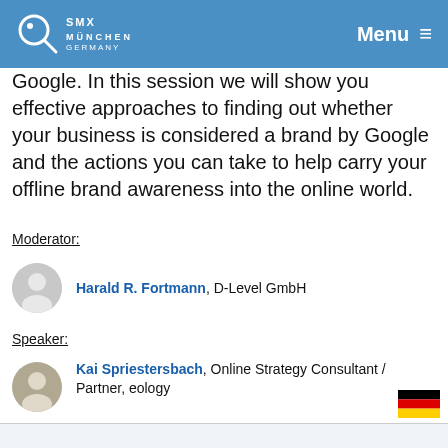SMX München Germany — Menu
Google. In this session we will show you effective approaches to finding out whether your business is considered a brand by Google and the actions you can take to help carry your offline brand awareness into the online world.
Moderator:
Harald R. Fortmann, D-Level GmbH
Speaker:
Kai Spriestersbach, Online Strategy Consultant / Partner, eology
Nicole Otten, CEWE Stiftung & Co. KGaA